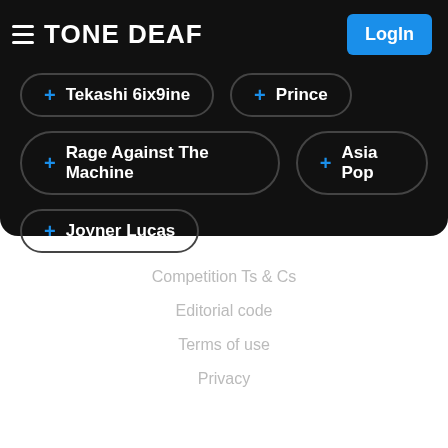TONE DEAF
+ Tekashi 6ix9ine
+ Prince
+ Rage Against The Machine
+ Asia Pop
+ Joyner Lucas
Competition Ts & Cs
Editorial code
Terms of use
Privacy